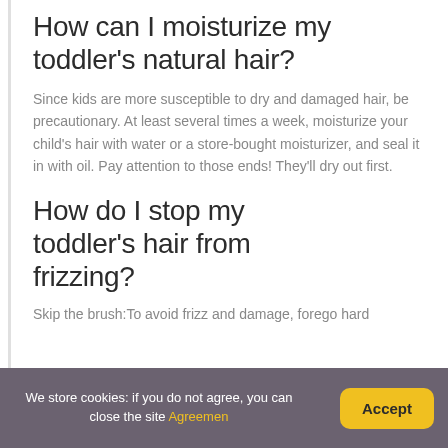How can I moisturize my toddler's natural hair?
Since kids are more susceptible to dry and damaged hair, be precautionary. At least several times a week, moisturize your child's hair with water or a store-bought moisturizer, and seal it in with oil. Pay attention to those ends! They'll dry out first.
How do I stop my toddler's hair from frizzing?
Skip the brush:To avoid frizz and damage, forego hard
We store cookies: if you do not agree, you can close the site Agreemen